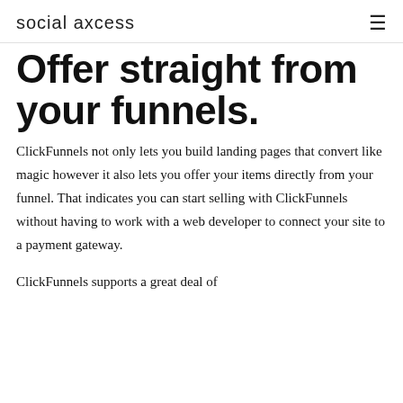social axcess
Offer straight from your funnels.
ClickFunnels not only lets you build landing pages that convert like magic however it also lets you offer your items directly from your funnel. That indicates you can start selling with ClickFunnels without having to work with a web developer to connect your site to a payment gateway.
ClickFunnels supports a great deal of